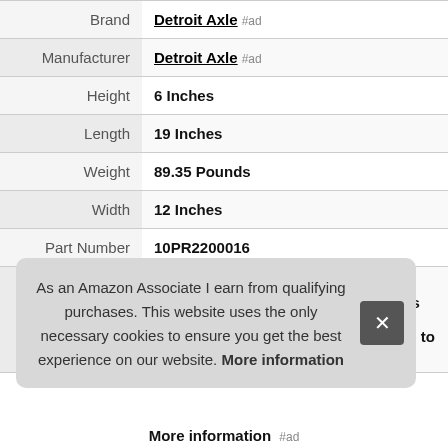| Attribute | Value |
| --- | --- |
| Brand | Detroit Axle #ad |
| Manufacturer | Detroit Axle #ad |
| Height | 6 Inches |
| Length | 19 Inches |
| Weight | 89.35 Pounds |
| Width | 12 Inches |
| Part Number | 10PR2200016 |
| Warranty | 10-YEAR WARRANTY This item is backed by a warranty against defects in materials and workmanship under its intended use. If this item fails due to manufacturing defects for |
As an Amazon Associate I earn from qualifying purchases. This website uses the only necessary cookies to ensure you get the best experience on our website. More information
More information #ad